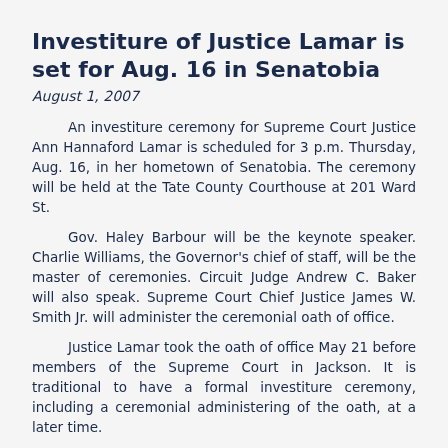Investiture of Justice Lamar is set for Aug. 16 in Senatobia
August 1, 2007
An investiture ceremony for Supreme Court Justice Ann Hannaford Lamar is scheduled for 3 p.m. Thursday, Aug. 16, in her hometown of Senatobia. The ceremony will be held at the Tate County Courthouse at 201 Ward St.
Gov. Haley Barbour will be the keynote speaker. Charlie Williams, the Governor's chief of staff, will be the master of ceremonies. Circuit Judge Andrew C. Baker will also speak. Supreme Court Chief Justice James W. Smith Jr. will administer the ceremonial oath of office.
Justice Lamar took the oath of office May 21 before members of the Supreme Court in Jackson. It is traditional to have a formal investiture ceremony, including a ceremonial administering of the oath, at a later time.
The public is invited.
Justice Lamar said, “It is an honor and a privilege to serve on the Mississippi Supreme Court. I am excited about the